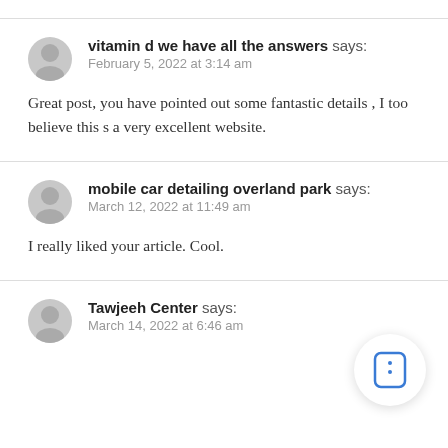vitamin d we have all the answers says:
February 5, 2022 at 3:14 am
Great post, you have pointed out some fantastic details , I too believe this s a very excellent website.
mobile car detailing overland park says:
March 12, 2022 at 11:49 am
I really liked your article. Cool.
Tawjeeh Center says:
March 14, 2022 at 6:46 am
[Figure (illustration): A circular icon button with a white background and shadow, containing a blue rounded rectangle icon with two dots inside (resembling a card or document icon).]